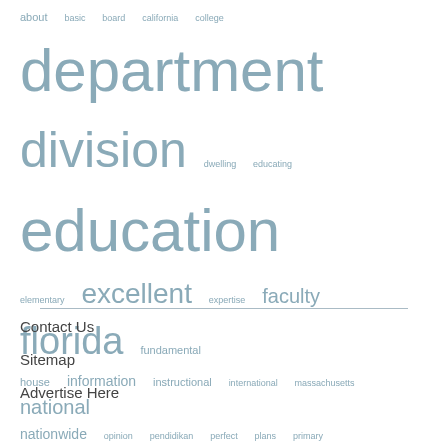[Figure (infographic): Word cloud with education-related terms in varying sizes. Largest words: department, division, education, schooling, sciences, training, website. Medium words: excellent, florida, national, residence, state, teaching. Smaller words: about, basic, board, california, college, dwelling, educating, elementary, expertise, faculty, fundamental, house, information, instructional, international, massachusetts, nationwide, opinion, pendidikan, perfect, plans, primary, school, schools, secondary, teacher, weblog, websites, welcome, wordpress, world, worldwide.]
Contact Us
Sitemap
Advertise Here